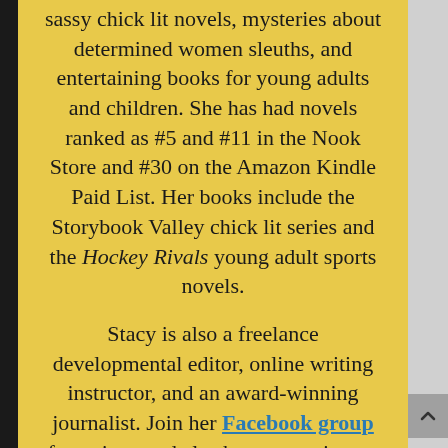sassy chick lit novels, mysteries about determined women sleuths, and entertaining books for young adults and children. She has had novels ranked as #5 and #11 in the Nook Store and #30 on the Amazon Kindle Paid List. Her books include the Storybook Valley chick lit series and the Hockey Rivals young adult sports novels.
Stacy is also a freelance developmental editor, online writing instructor, and an award-winning journalist. Join her Facebook group for writers and also be sure to sign up for her free 5-day line editing course!